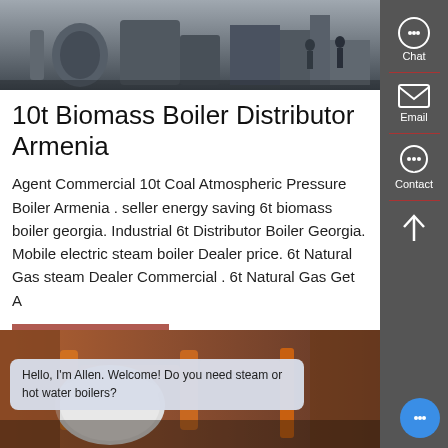[Figure (photo): Industrial boiler facility interior with machinery and workers]
10t Biomass Boiler Distributor Armenia
Agent Commercial 10t Coal Atmospheric Pressure Boiler Armenia . seller energy saving 6t biomass boiler georgia. Industrial 6t Distributor Boiler Georgia. Mobile electric steam boiler Dealer price. 6t Natural Gas steam Dealer Commercial . 6t Natural Gas Get A
Learn More
[Figure (photo): Industrial boiler room with orange pipes and large white cylindrical boiler]
Hello, I'm Allen. Welcome! Do you need steam or hot water boilers?